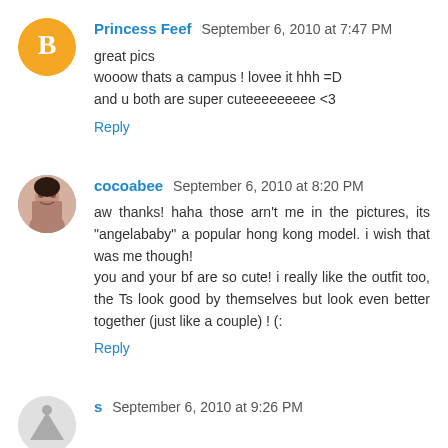Princess Feef  September 6, 2010 at 7:47 PM
great pics
wooow thats a campus ! lovee it hhh =D
and u both are super cuteeeeeeeee <3
Reply
cocoabee  September 6, 2010 at 8:20 PM
aw thanks! haha those arn't me in the pictures, its "angelababy" a popular hong kong model. i wish that was me though!
you and your bf are so cute! i really like the outfit too, the Ts look good by themselves but look even better together (just like a couple) ! (:
Reply
s  September 6, 2010 at 9:26 PM